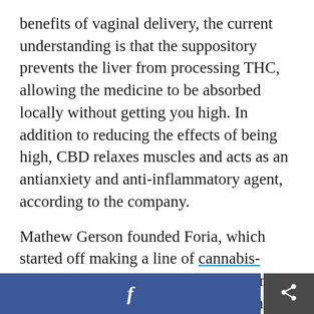benefits of vaginal delivery, the current understanding is that the suppository prevents the liver from processing THC, allowing the medicine to be absorbed locally without getting you high. In addition to reducing the effects of being high, CBD relaxes muscles and acts as an antianxiety and anti-inflammatory agent, according to the company.
Mathew Gerson founded Foria, which started off making a line of cannabis-infused female pleasure products. Gerson told us why it's important that women don't get high from the Foria cannabis suppository: "The number of women who could